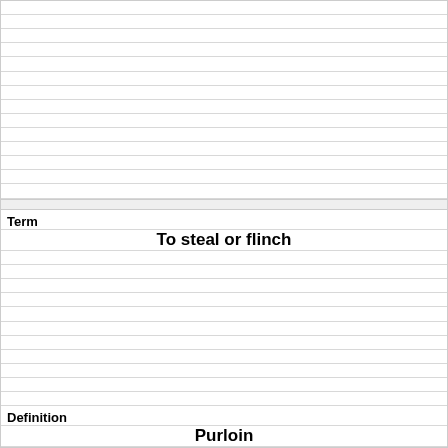| (lined rows) |
| (separator) |
| Term |
| To steal or flinch |
| (lined rows) |
| Definition |
| Purloin |